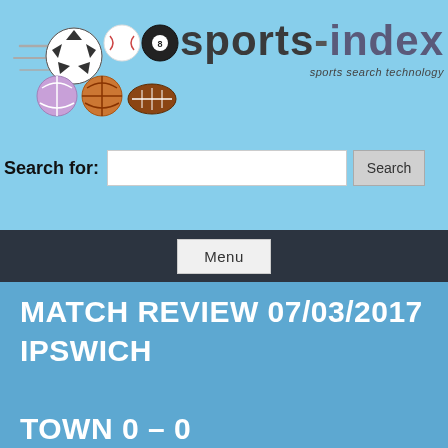[Figure (logo): Sports-index logo with sports balls (soccer, baseball, billiard, volleyball, basketball, football) and brand name 'sports-index' with tagline 'sports search technology']
Search for:
Search
Menu
MATCH REVIEW 07/03/2017 IPSWICH TOWN 0 – 0 WOLVERHAMPTON WANDERERS